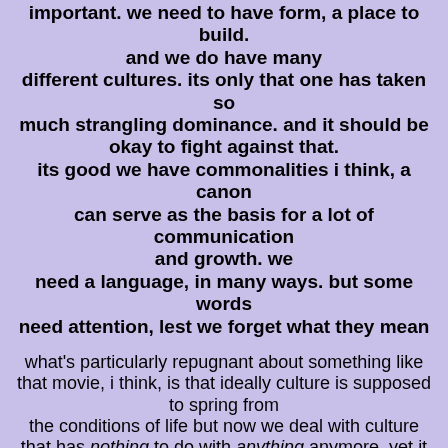important. we need to have form, a place to build. and we do have many different cultures. its only that one has taken so much strangling dominance. and it should be okay to fight against that. its good we have commonalities i think, a canon can serve as the basis for a lot of communication and growth. we need a language, in many ways. but some words need attention, lest we forget what they mean
what's particularly repugnant about something like that movie, i think, is that ideally culture is supposed to spring from the conditions of life but now we deal with culture that has nothing to do with anything anymore, yet it is dominant
there is this idea that basically goes like this: people used to paint sublime landscapes, they were representing reality through art. now, pictures are taken of those same landscapes